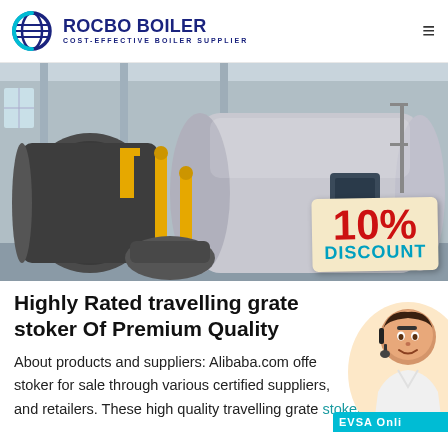ROCBO BOILER · COST-EFFECTIVE BOILER SUPPLIER
[Figure (photo): Industrial gas-fired steam boilers in a factory/warehouse setting with yellow pipe fittings and mechanical components, with a 10% DISCOUNT badge overlay]
Highly Rated travelling grate stoker Of Premium Quality
About products and suppliers: Alibaba.com offers travelling grate stoker for sale through various certified suppliers, and retailers. These high quality travelling grate stoker can be